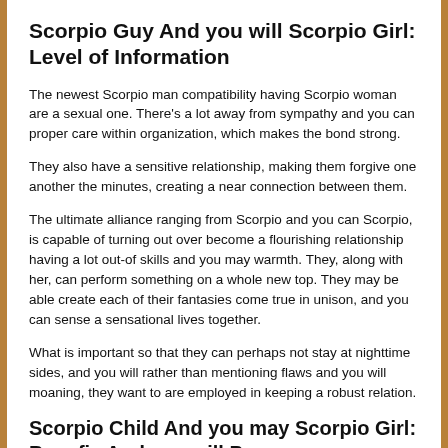Scorpio Guy And you will Scorpio Girl: Level of Information
The newest Scorpio man compatibility having Scorpio woman are a sexual one. There’s a lot away from sympathy and you can proper care within organization, which makes the bond strong.
They also have a sensitive relationship, making them forgive one another the minutes, creating a near connection between them.
The ultimate alliance ranging from Scorpio and you can Scorpio, is capable of turning out over become a flourishing relationship having a lot out-of skills and you may warmth. They, along with her, can perform something on a whole new top. They may be able create each of their fantasies come true in unison, and you can sense a sensational lives together.
What is important so that they can perhaps not stay at nighttime sides, and you will rather than mentioning flaws and you will moaning, they want to are employed in keeping a robust relation.
Scorpio Child And you may Scorpio Girl: Benefis And you will Pressures